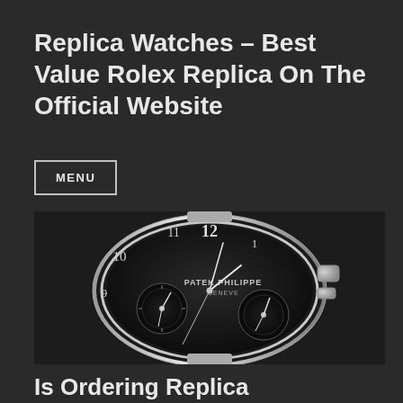Replica Watches – Best Value Rolex Replica On The Official Website
MENU
[Figure (photo): Close-up photograph of a Patek Philippe Geneve luxury chronograph watch with black dial, showing multiple subdials and silver hands against a dark background.]
Is Ordering Replica